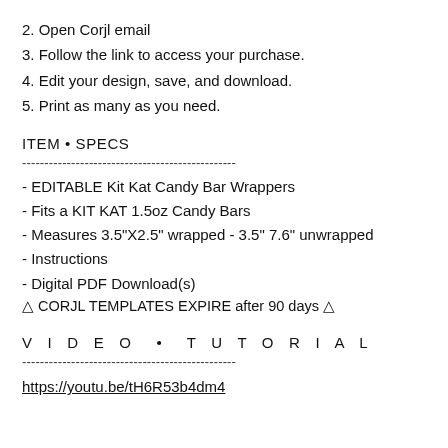2. Open Corjl email
3. Follow the link to access your purchase.
4. Edit your design, save, and download.
5. Print as many as you need.
ITEM • SPECS
------------------------------------------------
- EDITABLE Kit Kat Candy Bar Wrappers
- Fits a KIT KAT 1.5oz Candy Bars
- Measures 3.5"X2.5" wrapped - 3.5" 7.6" unwrapped
- Instructions
- Digital PDF Download(s)
⚠ CORJL TEMPLATES EXPIRE after 90 days ⚠
V I D E O  •  T U T O R I A L
------------------------------------------------
https://youtu.be/tH6R53b4dm4